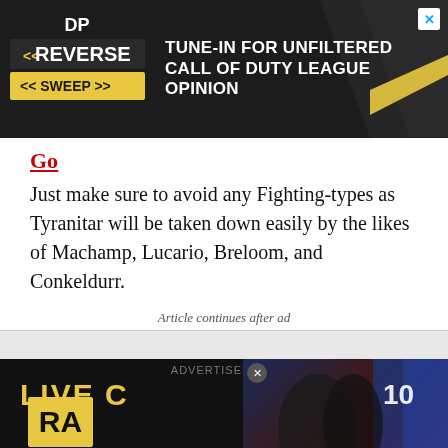[Figure (screenshot): Advertisement banner for 'Reverse Sweep' podcast — dark background with logo and text 'TUNE-IN FOR UNFILTERED CALL OF DUTY LEAGUE OPINION'. Close button top right.]
Go
Just make sure to avoid any Fighting-types as Tyranitar will be taken down easily by the likes of Machamp, Lucario, Breloom, and Conkeldurr.
Article continues after ad
[Figure (screenshot): Advertisement for 'Live' content with dark background, yellow text 'LIVE C...' and 'RA' box. Overlapping video thumbnail showing esports players with green text 'HAS AS GOOD AIM AS HIM'. Bottom strip ad for 'Untold Influencer Stories' with ORIGINALS logo and LEARN MORE button.]